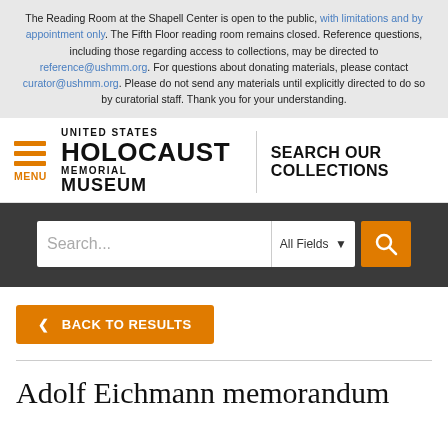The Reading Room at the Shapell Center is open to the public, with limitations and by appointment only. The Fifth Floor reading room remains closed. Reference questions, including those regarding access to collections, may be directed to reference@ushmm.org. For questions about donating materials, please contact curator@ushmm.org. Please do not send any materials until explicitly directed to do so by curatorial staff. Thank you for your understanding.
[Figure (logo): United States Holocaust Memorial Museum logo with hamburger menu icon and orange MENU label, vertical divider, and SEARCH OUR COLLECTIONS text]
[Figure (screenshot): Search bar with placeholder text 'Search...', All Fields dropdown, and orange search button]
< BACK TO RESULTS
Adolf Eichmann memorandum